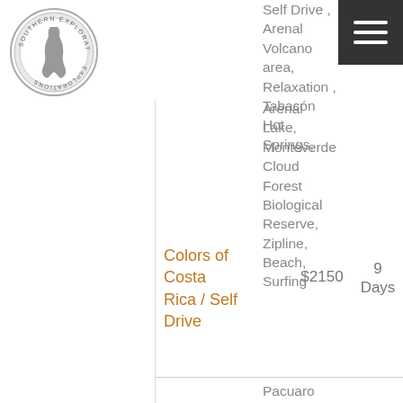[Figure (logo): Southern Explorations circular logo with South America map outline]
Self Drive , Arenal Volcano area, Relaxation , Tabacón Hot Springs, Arenal Lake, Monteverde Cloud Forest Biological Reserve, Zipline, Beach, Surfing
Colors of Costa Rica / Self Drive
$2150
9 Days
Pacuaro